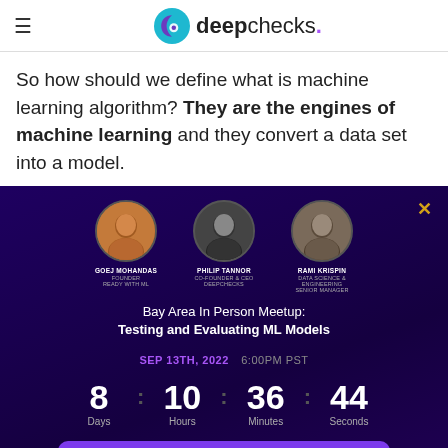deepchecks.
So how should we define what is machine learning algorithm? They are the engines of machine learning and they convert a data set into a model.
[Figure (infographic): Dark purple event promotional banner with three circular speaker photos (Goej Mohandas - Founder Ready With ML, Philip Tannor - Co-Founder & CEO Deepchecks, Rami Krispin - Data Science & Engineering Senior Manager), event title 'Bay Area In Person Meetup: Testing and Evaluating ML Models', date SEP 13TH, 2022 6:00PM PST, countdown timer showing 8 Days, 10 Hours, 36 Minutes, 44 Seconds, and a Register Now button]
Bay Area In Person Meetup: Testing and Evaluating ML Models
SEP 13TH, 2022   6:00PM PST
8 Days : 10 Hours : 36 Minutes : 44 Seconds
Register Now